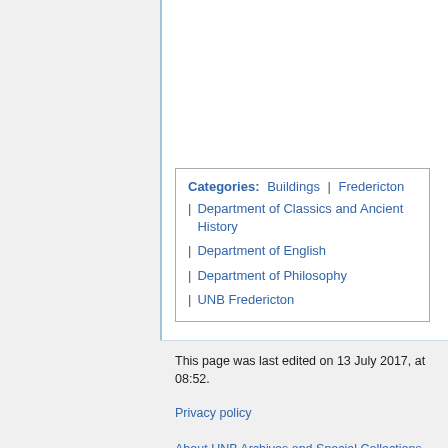Categories: Buildings | Fredericton | Department of Classics and Ancient History | Department of English | Department of Philosophy | UNB Fredericton
This page was last edited on 13 July 2017, at 08:52.
Privacy policy
About UNB Archives and Special Collections